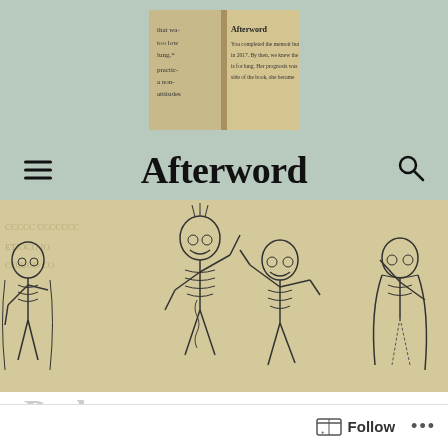[Figure (photo): Thumbnail of a book open to a page showing 'Afterword' heading with text beginning 'You completed the memoir but in 2017. By then, we knew the is for lung. Her prognosis was side of the book, she became']
Afterword
[Figure (illustration): Wide banner image of a medieval 'Danse Macabre' (Dance of Death) engraving showing several animated skeletons dancing, on a yellowed parchment-colored background with partially visible Latin text]
Prologue to
Follow ...